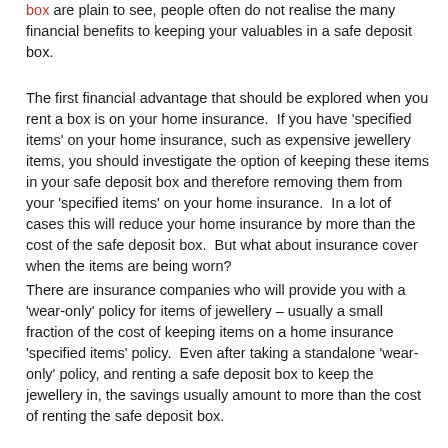box are plain to see, people often do not realise the many financial benefits to keeping your valuables in a safe deposit box.
The first financial advantage that should be explored when you rent a box is on your home insurance.  If you have 'specified items' on your home insurance, such as expensive jewellery items, you should investigate the option of keeping these items in your safe deposit box and therefore removing them from your 'specified items' on your home insurance.  In a lot of cases this will reduce your home insurance by more than the cost of the safe deposit box.  But what about insurance cover when the items are being worn?
There are insurance companies who will provide you with a 'wear-only' policy for items of jewellery – usually a small fraction of the cost of keeping items on a home insurance 'specified items' policy.  Even after taking a standalone 'wear-only' policy, and renting a safe deposit box to keep the jewellery in, the savings usually amount to more than the cost of renting the safe deposit box.